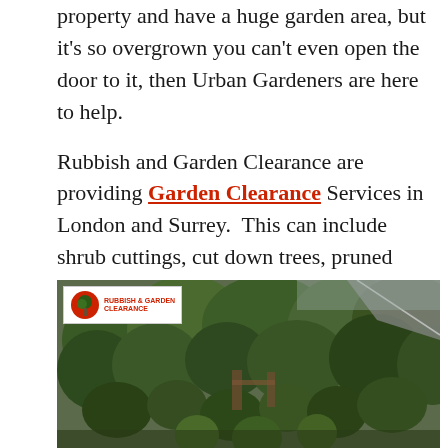property and have a huge garden area, but it's so overgrown you can't even open the door to it, then Urban Gardeners are here to help.
Rubbish and Garden Clearance are providing Garden Clearance Services in London and Surrey.  This can include shrub cuttings, cut down trees, pruned bushes, grass-cutting, and so on. Please keep in mind that if you have heavy waste such as soil in your garden refuse, you will be charged according to the weight instead of volume.
[Figure (photo): Overhead view of an overgrown garden with dense green shrubs and trees, with a Rubbish & Garden Clearance logo in the top-left corner.]